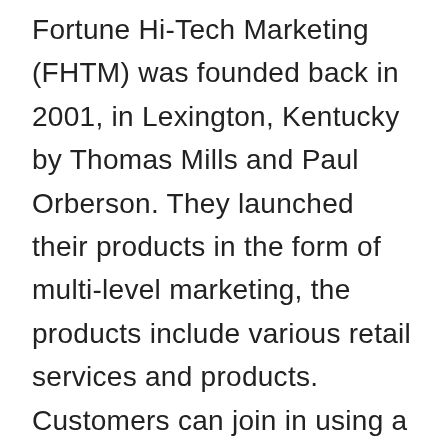Fortune Hi-Tech Marketing (FHTM) was founded back in 2001, in Lexington, Kentucky by Thomas Mills and Paul Orberson. They launched their products in the form of multi-level marketing, the products include various retail services and products. Customers can join in using a signup fee of about $99 to $299.
This business model matches with the 'legitimate' tag - compensation is provided for selling and additional bonuses for new recruitment. Everything looks balanced but